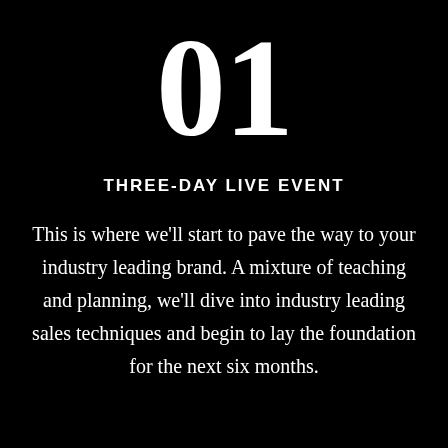01
THREE-DAY LIVE EVENT
This is where we'll start to pave the way to your industry leading brand. A mixture of teaching and planning, we'll dive into industry leading sales techniques and begin to lay the foundation for the next six months.